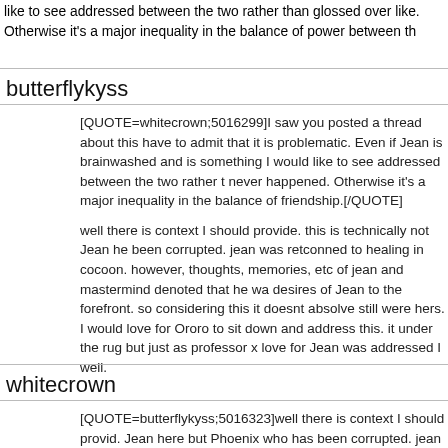like to see addressed between the two rather than glossed over like. Otherwise it's a major inequality in the balance of power between th
butterflykyss
[QUOTE=whitecrown;5016299]I saw you posted a thread about this have to admit that it is problematic. Even if Jean is brainwashed and is something I would like to see addressed between the two rather t never happened. Otherwise it's a major inequality in the balance of friendship.[/QUOTE]
well there is context I should provide. this is technically not Jean he been corrupted. jean was retconned to healing in cocoon. however, thoughts, memories, etc of jean and mastermind denoted that he wa desires of Jean to the forefront. so considering this it doesnt absolve still were hers. I would love for Ororo to sit down and address this. it under the rug but just as professor x love for Jean was addressed I well.
whitecrown
[QUOTE=butterflykyss;5016323]well there is context I should provid. Jean here but Phoenix who has been corrupted. jean was retconne